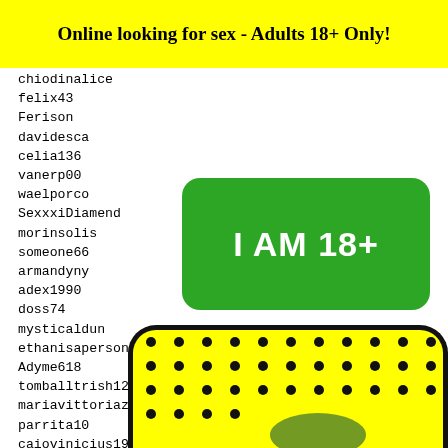Online looking for sex - Adults 18+ Only!
chiodinalice
felix43
Ferison
davidesca
celia136
vanerp00
waelporco
SexxxiDiamend
morinsolis
someone66
armandyny
adex1990
doss74
mysticaldun
ethanisaperson
Adyme618
tomballtrish12345
mariavittoriaz4
parrita10
caiovinicius1993
alegon
submar
guffy
victor
xiinoo
rodiro
[Figure (illustration): Green rounded rectangle button with white bold text 'I AM 18+']
[Figure (illustration): Red rounded rectangle button with white bold text 'EXIT']
2559 2560 2561 2562 2563
[Figure (illustration): Yellow and black rounded padel racket graphic with emoji face at bottom]